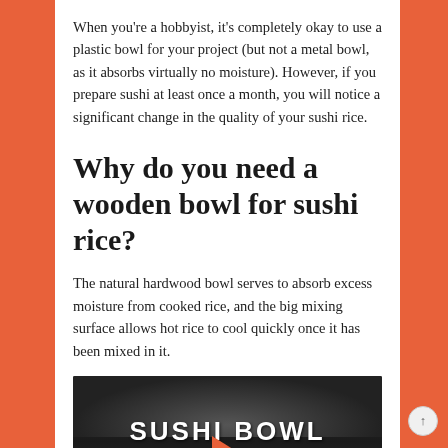When you're a hobbyist, it's completely okay to use a plastic bowl for your project (but not a metal bowl, as it absorbs virtually no moisture). However, if you prepare sushi at least once a month, you will notice a significant change in the quality of your sushi rice.
Why do you need a wooden bowl for sushi rice?
The natural hardwood bowl serves to absorb excess moisture from cooked rice, and the big mixing surface allows hot rice to cool quickly once it has been mixed in it.
[Figure (photo): A dark image showing a sushi bowl with text 'SUSHI BOWL' overlaid in white capital letters and a red play button arrow below, suggesting a video thumbnail.]